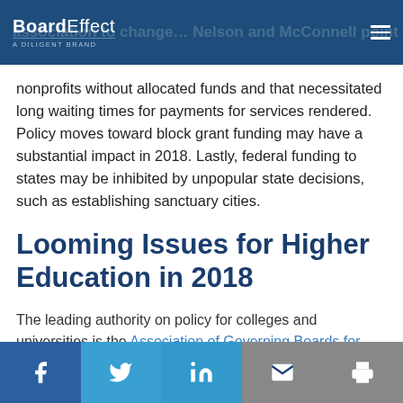BoardEffect — A Diligent Brand
nonprofits without allocated funds and that necessitated long waiting times for payments for services rendered. Policy moves toward block grant funding may have a substantial impact in 2018. Lastly, federal funding to states may be inhibited by unpopular state decisions, such as establishing sanctuary cities.
Looming Issues for Higher Education in 2018
The leading authority on policy for colleges and universities is the Association of Governing Boards for Universities and Colleges (AGB). AGB expresses concerns about the Trump administration's 2018 fiscal year budget proposal to Congress and tax reform
Social share buttons: Facebook, Twitter, LinkedIn, Email, Print